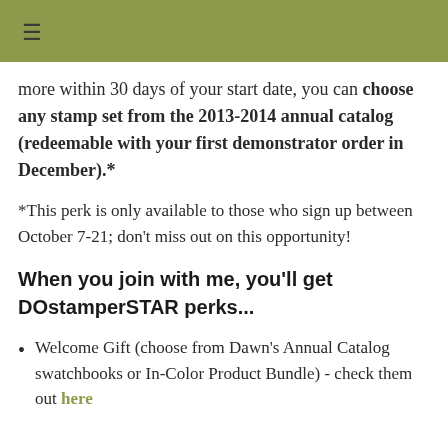≡
more within 30 days of your start date, you can choose any stamp set from the 2013-2014 annual catalog (redeemable with your first demonstrator order in December).*
*This perk is only available to those who sign up between October 7-21; don't miss out on this opportunity!
When you join with me, you'll get DOstamperSTAR perks...
Welcome Gift (choose from Dawn's Annual Catalog swatchbooks or In-Color Product Bundle) - check them out here